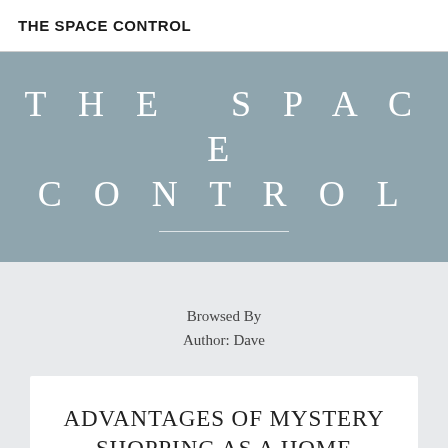THE SPACE CONTROL
THE SPACE CONTROL
Browsed By
Author: Dave
ADVANTAGES OF MYSTERY SHOPPING AS A HOME BASED